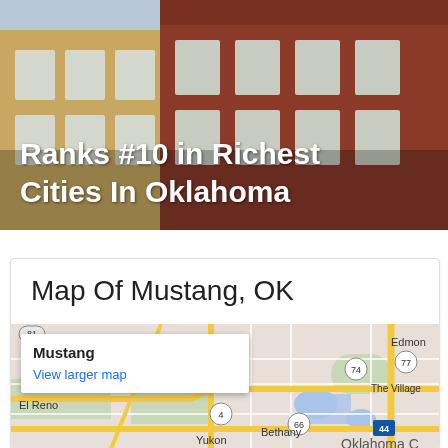[Figure (photo): Photo of brick apartment buildings with text overlay: Ranks #10 in Richest Cities In Oklahoma]
Ranks #10 in Richest Cities In Oklahoma
Map Of Mustang, OK
[Figure (map): Google map showing Mustang, OK area with surrounding cities including Edmond, The Village, Bethany, El Reno, Yukon, and Oklahoma City. Roads 81, 74, 77, 4, 66, 44 are visible. A popup shows 'Mustang' with a 'View larger map' link.]